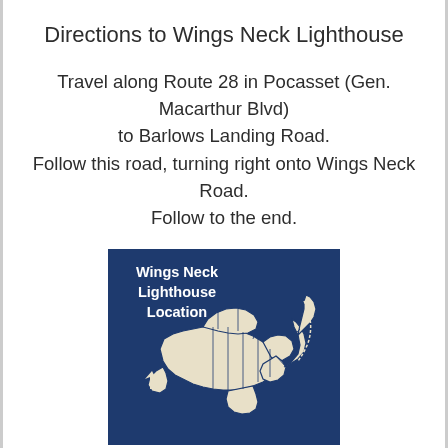Directions to Wings Neck Lighthouse
Travel along Route 28 in Pocasset (Gen. Macarthur Blvd)
to Barlows Landing Road.
Follow this road, turning right onto Wings Neck Road.
Follow to the end.
[Figure (map): Map showing Cape Cod area with Wings Neck Lighthouse Location labeled. Blue background with white outline of Cape Cod region divided into town sections, with an arrow pointing to Wings Neck location.]